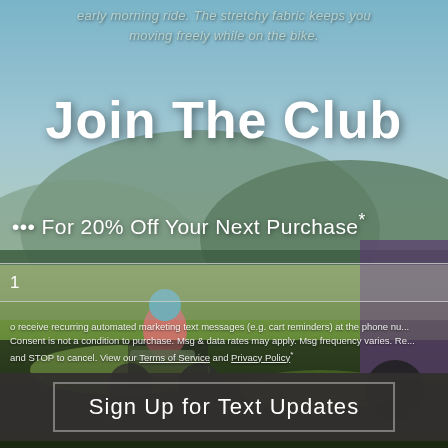[Figure (photo): Two mountain bikers riding through a grassy field with mountains and trees in the background. The photo is a full-bleed background image for a marketing popup/modal.]
early morning ride. The stretchy fabric keeps you moving freely while on the bike.
Join The Club
For 20% Off Your Next Purchase*
1
o receive recurring automated marketing text messages (e.g. cart reminders) at the phone nu... Consent is not a condition to purchase. Msg & data rates may apply. Msg frequency varies. Re... and STOP to cancel. View our Terms of Service and Privacy Policy.
Sign Up for Text Updates